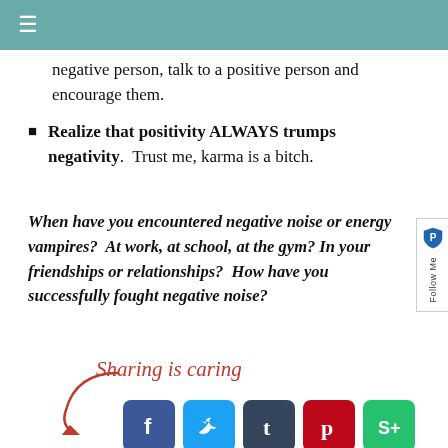≡
Realize that positivity ALWAYS trumps negativity. Trust me, karma is a bitch.
When have you encountered negative noise or energy vampires? At work, at school, at the gym? In your friendships or relationships? How have you successfully fought negative noise?
[Figure (infographic): Sharing is caring label with arrow and social media share buttons: Facebook, Twitter, Tumblr, Pinterest, StumbleUpon]